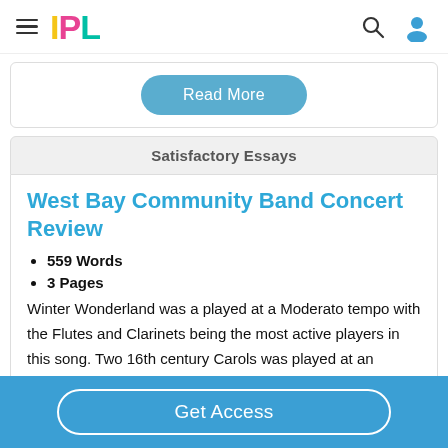IPL
Read More
Satisfactory Essays
West Bay Community Band Concert Review
559 Words
3 Pages
Winter Wonderland was a played at a Moderato tempo with the Flutes and Clarinets being the most active players in this song. Two 16th century Carols was played at an Andante-
Get Access